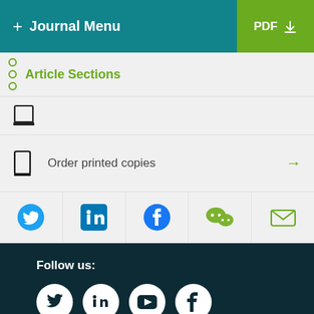+ Journal Menu | PDF
Article Sections
[Figure (other): Book/journal icon]
Order printed copies →
[Figure (other): Social share icons: Twitter, LinkedIn, Facebook, WeChat, Email]
Follow us:
[Figure (other): Social follow icons: Twitter, LinkedIn, YouTube, Facebook]
About us
Contact us